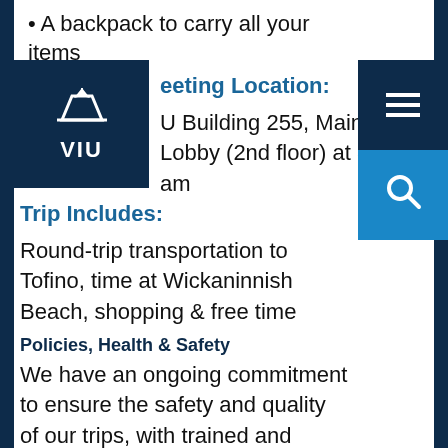A backpack to carry all your items
Meeting Location:
VIU Building 255, Main Lobby (2nd floor) at 8:15 am
Trip Includes:
Round-trip transportation to Tofino, time at Wickaninnish Beach, shopping & free time
Policies, Health & Safety
We have an ongoing commitment to ensure the safety and quality of our trips, with trained and responsible student leaders, staff and community partners. Before you sign-up, please check out our policies &